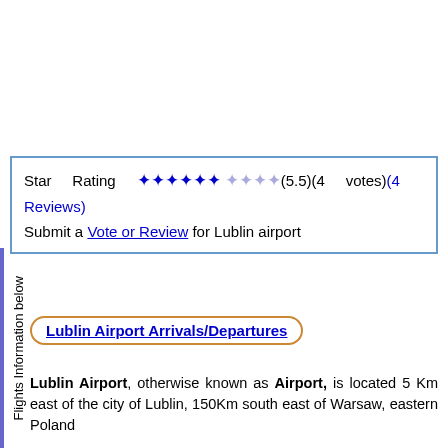Star Rating ✦✦✦✦✦✦ ✦✦✦✦ (5.5)(4 votes)(4 Reviews) Submit a Vote or Review for Lublin airport
Lublin Airport Arrivals/Departures
Lublin Airport, otherwise known as Airport, is located 5 Km east of the city of Lublin, 150Km south east of Warsaw, eastern Poland
Although the site of an old airfield, the modern airport was opened in late 2012 and was designed to handle 1 million passengers per year.